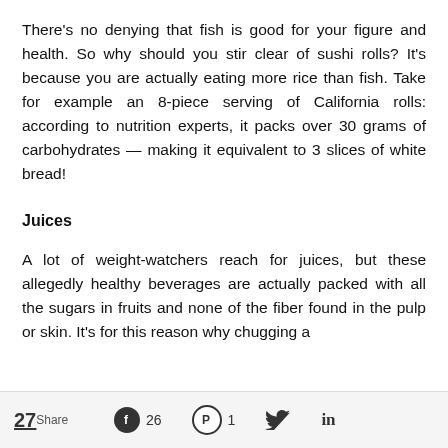There's no denying that fish is good for your figure and health. So why should you stir clear of sushi rolls? It's because you are actually eating more rice than fish. Take for example an 8-piece serving of California rolls: according to nutrition experts, it packs over 30 grams of carbohydrates — making it equivalent to 3 slices of white bread!
Juices
A lot of weight-watchers reach for juices, but these allegedly healthy beverages are actually packed with all the sugars in fruits and none of the fiber found in the pulp or skin. It's for this reason why chugging a
27 Share  26  1  (Twitter)  in